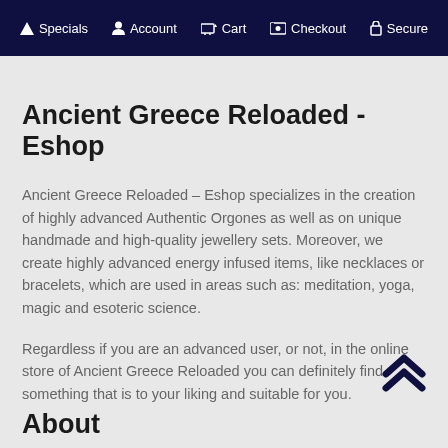Specials  Account  Cart  Checkout  Secure
Ancient Greece Reloaded - Eshop
Ancient Greece Reloaded – Eshop specializes in the creation of highly advanced Authentic Orgones as well as on unique handmade and high-quality jewellery sets. Moreover, we create highly advanced energy infused items, like necklaces or bracelets, which are used in areas such as: meditation, yoga, magic and esoteric science.
Regardless if you are an advanced user, or not, in the online store of Ancient Greece Reloaded you can definitely find something that is to your liking and suitable for you.
About